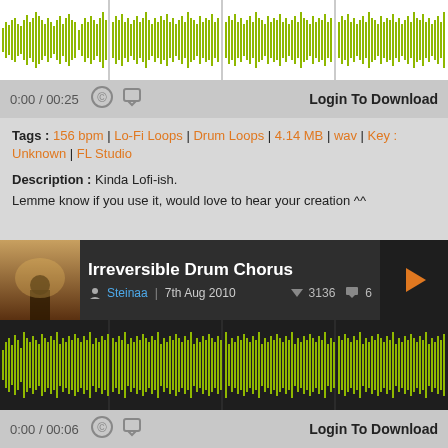[Figure (other): Audio waveform visualization in yellow-green color on white background]
0:00 / 00:25    Login To Download
Tags : 156 bpm | Lo-Fi Loops | Drum Loops | 4.14 MB | wav | Key : Unknown | FL Studio
Description : Kinda Lofi-ish.
Lemme know if you use it, would love to hear your creation ^^
[Figure (other): Track header for 'Irreversible Drum Chorus' by Steinaa dated 7th Aug 2010 with 3136 downloads and 6 comments, with orange play button]
[Figure (other): Audio waveform visualization in yellow-green color on dark background]
0:00 / 00:06    Login To Download
Tags : 156 bpm | Heavy Metal Loops | Drum Loops | 1.04 MB | wav |